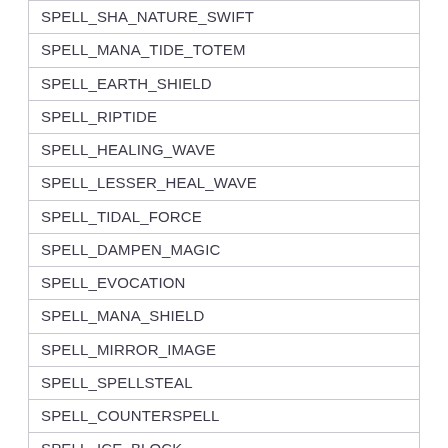| SPELL_SHA_NATURE_SWIFT |
| SPELL_MANA_TIDE_TOTEM |
| SPELL_EARTH_SHIELD |
| SPELL_RIPTIDE |
| SPELL_HEALING_WAVE |
| SPELL_LESSER_HEAL_WAVE |
| SPELL_TIDAL_FORCE |
| SPELL_DAMPEN_MAGIC |
| SPELL_EVOCATION |
| SPELL_MANA_SHIELD |
| SPELL_MIRROR_IMAGE |
| SPELL_SPELLSTEAL |
| SPELL_COUNTERSPELL |
| SPELL_ICE_BLOCK |
| SPELL_FOCUS_MAGIC |
| SPELL_ARCANE_POWER |
| SPELL_ARCANE_BARRAGE |